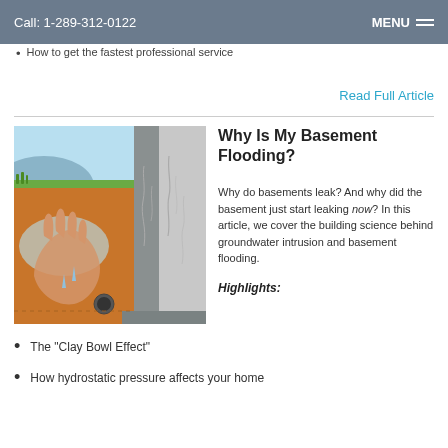Call: 1-289-312-0122    MENU
How to get the fastest professional service
Read Full Article
Why Is My Basement Flooding?
[Figure (illustration): Cross-section diagram of a basement foundation showing groundwater intrusion, soil layers, and a drainage pipe]
Why do basements leak? And why did the basement just start leaking now? In this article, we cover the building science behind groundwater intrusion and basement flooding.
Highlights:
The "Clay Bowl Effect"
How hydrostatic pressure affects your home